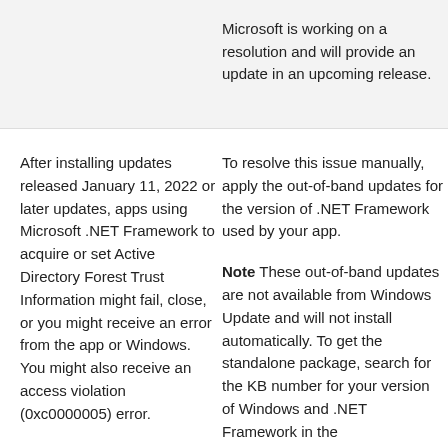Microsoft is working on a resolution and will provide an update in an upcoming release.
After installing updates released January 11, 2022 or later updates, apps using Microsoft .NET Framework to acquire or set Active Directory Forest Trust Information might fail, close, or you might receive an error from the app or Windows. You might also receive an access violation (0xc0000005) error.
Note for developers: Affected apps use the System.DirectoryServices API.
To resolve this issue manually, apply the out-of-band updates for the version of .NET Framework used by your app.
Note These out-of-band updates are not available from Windows Update and will not install automatically. To get the standalone package, search for the KB number for your version of Windows and .NET Framework in the